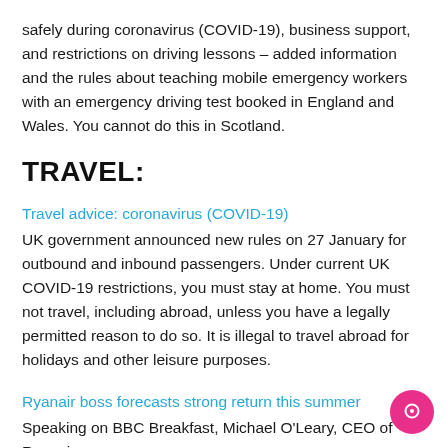safely during coronavirus (COVID-19), business support, and restrictions on driving lessons – added information and the rules about teaching mobile emergency workers with an emergency driving test booked in England and Wales. You cannot do this in Scotland.
TRAVEL:
Travel advice: coronavirus (COVID-19)
UK government announced new rules on 27 January for outbound and inbound passengers. Under current UK COVID-19 restrictions, you must stay at home. You must not travel, including abroad, unless you have a legally permitted reason to do so. It is illegal to travel abroad for holidays and other leisure purposes.
Ryanair boss forecasts strong return this summer
Speaking on BBC Breakfast, Michael O'Leary, CEO of Ryanair...